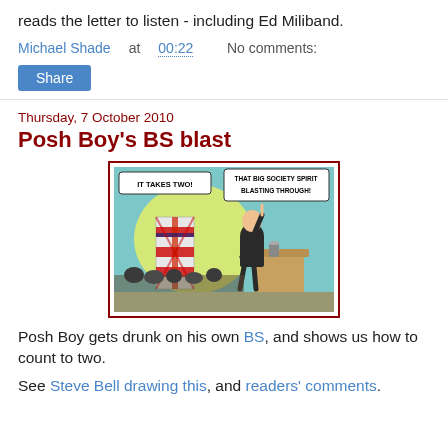reads the letter to listen - including Ed Miliband.
Michael Shade at 00:22    No comments:
Share
Thursday, 7 October 2010
Posh Boy's BS blast
[Figure (illustration): Political cartoon showing a man (Posh Boy/David Cameron) at a podium with one finger raised, with speech bubbles: 'IT TAKES TWO!' and 'THAT BIG SOCIETY SPIRIT BLASTING THROUGH!' A large numeral '1' with a Union Jack is visible to the left.]
Posh Boy gets drunk on his own BS, and shows us how to count to two.
See Steve Bell drawing this, and readers' comments.